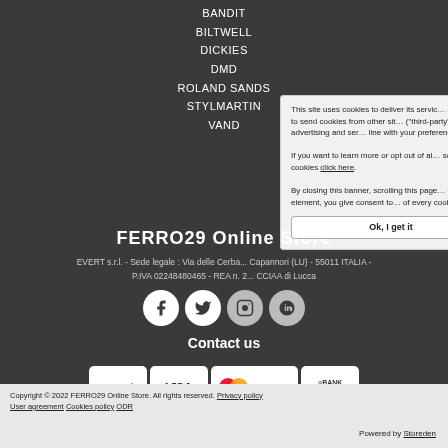BANDIT
BILTWELL
DICKIES
DMD
ROLAND SANDS
STYLMARTIN
VAND
FERRO29 Online Store
EVERT s.r.l. - Sede legale : Via delle Cerba... Capannori (LU) - 55011 ITALIA - P.IVA 02248480465 - REA n. 2... CCIAA di Lucca
[Figure (illustration): Social media icons: Facebook, Twitter, Instagram, and another social icon]
Contact us
[Figure (illustration): Payment method logos: PayPal, VISA, MasterCard, Bank Transfer]
This site uses cookies to deliver its service allows you to send cookies from other sites ("third-party") to send advertising and service line with your preferences. If you want to learn more or opt out of all some cookies click here. By closing this banner, scrolling this page clicking any element, you give consent to of every cookie.
Copyright © 2022 FERRO29 Online Store. All rights reserved. Privacy policy User agreement Cookies policy ODR
Powered by Storeden